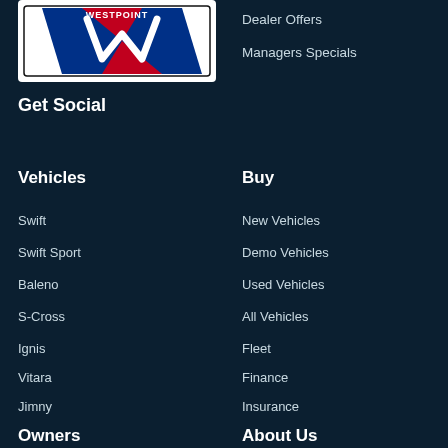[Figure (logo): Westpoint logo with star/stripe graphic]
Dealer Offers
Managers Specials
Get Social
Vehicles
Buy
Swift
New Vehicles
Swift Sport
Demo Vehicles
Baleno
Used Vehicles
S-Cross
All Vehicles
Ignis
Fleet
Vitara
Finance
Jimny
Insurance
Owners
About Us
Servicing
About Us